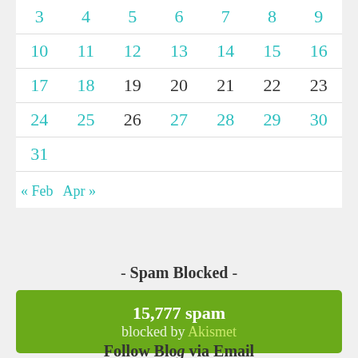| 3 | 4 | 5 | 6 | 7 | 8 | 9 |
| 10 | 11 | 12 | 13 | 14 | 15 | 16 |
| 17 | 18 | 19 | 20 | 21 | 22 | 23 |
| 24 | 25 | 26 | 27 | 28 | 29 | 30 |
| 31 |  |  |  |  |  |  |
« Feb   Apr »
- Spam Blocked -
15,777 spam blocked by Akismet
Follow Blog via Email